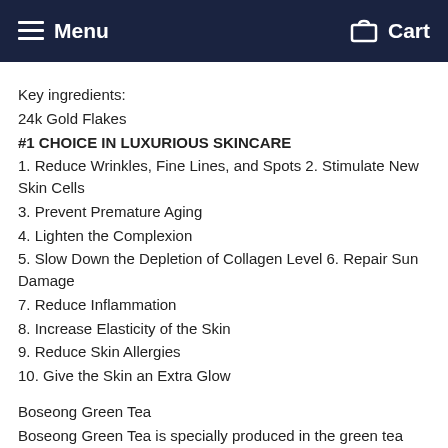Menu   Cart
Key ingredients:
24k Gold Flakes
#1 CHOICE IN LUXURIOUS SKINCARE
1. Reduce Wrinkles, Fine Lines, and Spots 2. Stimulate New Skin Cells
3. Prevent Premature Aging
4. Lighten the Complexion
5. Slow Down the Depletion of Collagen Level 6. Repair Sun Damage
7. Reduce Inflammation
8. Increase Elasticity of the Skin
9. Reduce Skin Allergies
10. Give the Skin an Extra Glow
Boseong Green Tea
Boseong Green Tea is specially produced in the green tea mountain fields in Boseong district in South Korea. It is well known for its great quality of green tea. Boseong is